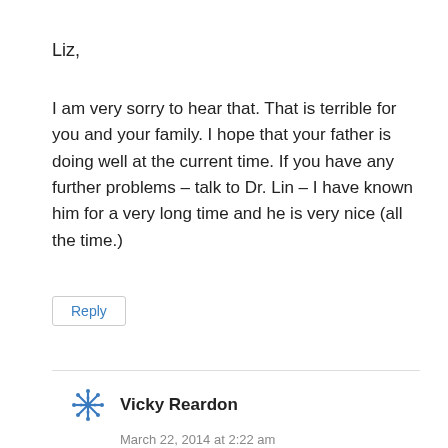Liz,
I am very sorry to hear that. That is terrible for you and your family. I hope that your father is doing well at the current time. If you have any further problems – talk to Dr. Lin – I have known him for a very long time and he is very nice (all the time.)
Reply
Vicky Reardon
March 22, 2014 at 2:22 am